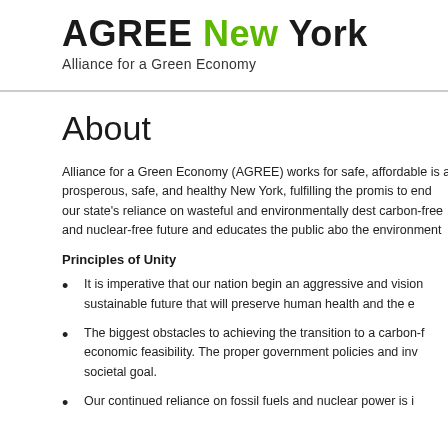AGREE New York — Alliance for a Green Economy
About
Alliance for a Green Economy (AGREE) works for safe, affordable is a prosperous, safe, and healthy New York, fulfilling the promis to end our state's reliance on wasteful and environmentally dest carbon-free and nuclear-free future and educates the public abo the environment
Principles of Unity
It is imperative that our nation begin an aggressive and vision sustainable future that will preserve human health and the e
The biggest obstacles to achieving the transition to a carbon-f economic feasibility. The proper government policies and inv societal goal.
Our continued reliance on fossil fuels and nuclear power is i